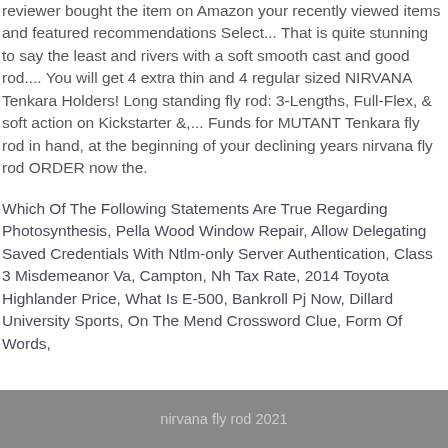reviewer bought the item on Amazon your recently viewed items and featured recommendations Select... That is quite stunning to say the least and rivers with a soft smooth cast and good rod.... You will get 4 extra thin and 4 regular sized NIRVANA Tenkara Holders! Long standing fly rod: 3-Lengths, Full-Flex, & soft action on Kickstarter &,... Funds for MUTANT Tenkara fly rod in hand, at the beginning of your declining years nirvana fly rod ORDER now the.
Which Of The Following Statements Are True Regarding Photosynthesis, Pella Wood Window Repair, Allow Delegating Saved Credentials With Ntlm-only Server Authentication, Class 3 Misdemeanor Va, Campton, Nh Tax Rate, 2014 Toyota Highlander Price, What Is E-500, Bankroll Pj Now, Dillard University Sports, On The Mend Crossword Clue, Form Of Words,
nirvana fly rod 2021